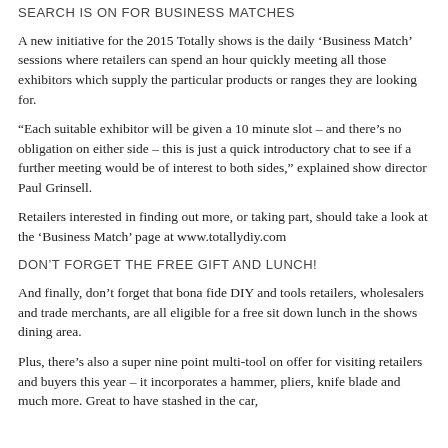SEARCH IS ON FOR BUSINESS MATCHES
A new initiative for the 2015 Totally shows is the daily ‘Business Match’ sessions where retailers can spend an hour quickly meeting all those exhibitors which supply the particular products or ranges they are looking for.
“Each suitable exhibitor will be given a 10 minute slot – and there’s no obligation on either side – this is just a quick introductory chat to see if a further meeting would be of interest to both sides,” explained show director Paul Grinsell.
Retailers interested in finding out more, or taking part, should take a look at the ‘Business Match’ page at www.totallydiy.com
DON’T FORGET THE FREE GIFT AND LUNCH!
And finally, don’t forget that bona fide DIY and tools retailers, wholesalers and trade merchants, are all eligible for a free sit down lunch in the shows dining area.
Plus, there’s also a super nine point multi-tool on offer for visiting retailers and buyers this year – it incorporates a hammer, pliers, knife blade and much more. Great to have stashed in the car,